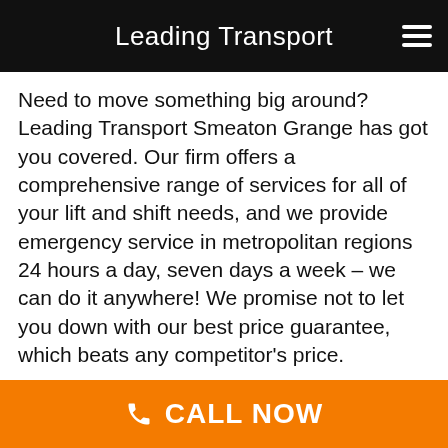Leading Transport
Need to move something big around? Leading Transport Smeaton Grange has got you covered. Our firm offers a comprehensive range of services for all of your lift and shift needs, and we provide emergency service in metropolitan regions 24 hours a day, seven days a week – we can do it anywhere! We promise not to let you down with our best price guarantee, which beats any competitor's price.
The team at Leading Transport Smeaton Grange are here and always ready so that nothing stops us from completing the job on-time every time!
CALL NOW